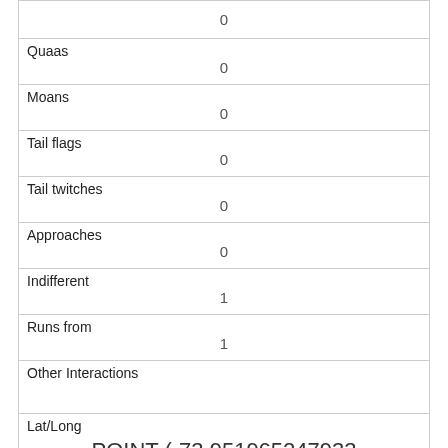|  | 0 |
| Quaas | 0 |
| Moans | 0 |
| Tail flags | 0 |
| Tail twitches | 0 |
| Approaches | 0 |
| Indifferent | 1 |
| Runs from | 1 |
| Other Interactions |  |
| Lat/Long | POINT (-73.951965247933 40.7938167628067) |